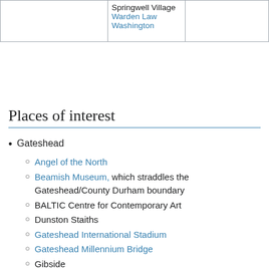|  |  |  |
| --- | --- | --- |
|  | Springwell Village
Warden Law
Washington |  |
Places of interest
Gateshead
Angel of the North
Beamish Museum, which straddles the Gateshead/County Durham boundary
BALTIC Centre for Contemporary Art
Dunston Staiths
Gateshead International Stadium
Gateshead Millennium Bridge
Gibside
MetroCentre
Saltwell Park
Shipley Art Gallery